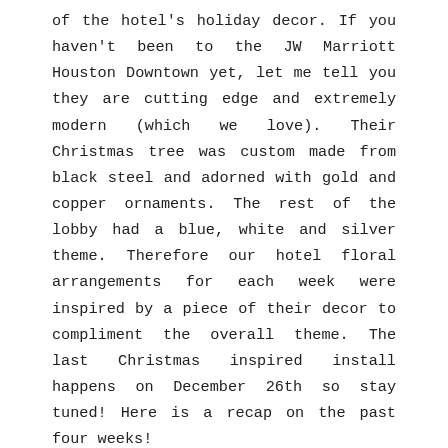of the hotel's holiday decor. If you haven't been to the JW Marriott Houston Downtown yet, let me tell you they are cutting edge and extremely modern (which we love). Their Christmas tree was custom made from black steel and adorned with gold and copper ornaments. The rest of the lobby had a blue, white and silver theme. Therefore our hotel floral arrangements for each week were inspired by a piece of their decor to compliment the overall theme. The last Christmas inspired install happens on December 26th so stay tuned! Here is a recap on the past four weeks!